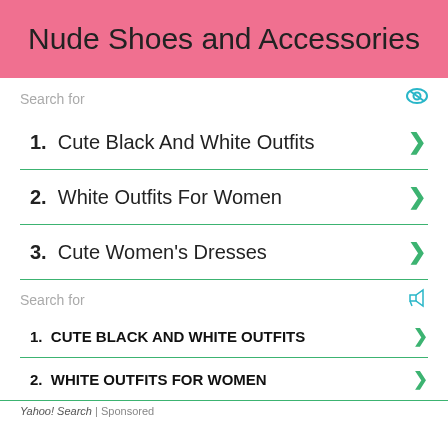Nude Shoes and Accessories
Search for
1.  Cute Black And White Outfits
2.  White Outfits For Women
3.  Cute Women's Dresses
Search for
1.  CUTE BLACK AND WHITE OUTFITS
2.  WHITE OUTFITS FOR WOMEN
Yahoo! Search | Sponsored